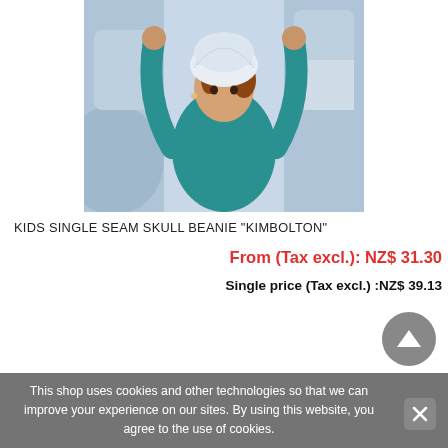[Figure (photo): A 3D rendered child model wearing a white skull beanie/hat and teal short-sleeve shirt, arms raised up, against a light blue/white abstract background.]
KIDS SINGLE SEAM SKULL BEANIE "KIMBOLTON"
From (Tax excl.): NZ$ 31.30
Single price (Tax excl.) :NZ$ 39.13
This shop uses cookies and other technologies so that we can improve your experience on our sites. By using this website, you agree to the use of cookies.